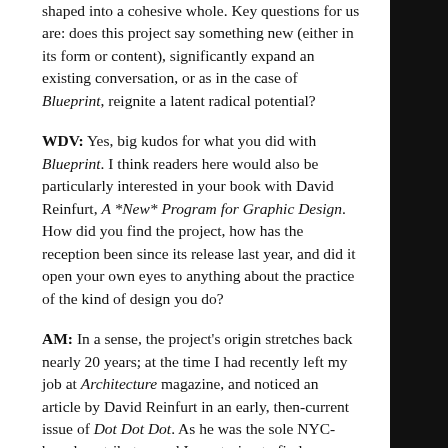shaped into a cohesive whole. Key questions for us are: does this project say something new (either in its form or content), significantly expand an existing conversation, or as in the case of Blueprint, reignite a latent radical potential?
WDV: Yes, big kudos for what you did with Blueprint. I think readers here would also be particularly interested in your book with David Reinfurt, A *New* Program for Graphic Design. How did you find the project, how has the reception been since its release last year, and did it open your own eyes to anything about the practice of the kind of design you do?
AM: In a sense, the project's origin stretches back nearly 20 years; at the time I had recently left my job at Architecture magazine, and noticed an article by David Reinfurt in an early, then-current issue of Dot Dot Dot. As he was the sole NYC-based contributor, and I was trying to find similarly minded designers in the